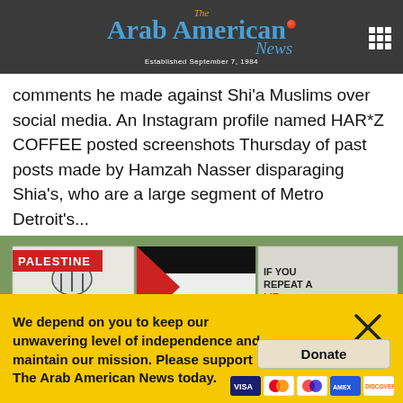The Arab American News — Established September 7, 1984
comments he made against Shi'a Muslims over social media. An Instagram profile named HAR*Z COFFEE posted screenshots Thursday of past posts made by Hamzah Nasser disparaging Shia's, who are a large segment of Metro Detroit's...
[Figure (photo): Protest signs reading RESIST and IF YOU REPEAT A LIE ENOUGH TIMES IT BECOMES TRUTH with Palestinian flag colors, tagged PALESTINE in red banner]
We depend on you to keep our unwavering level of independence and maintain our mission. Please support The Arab American News today.